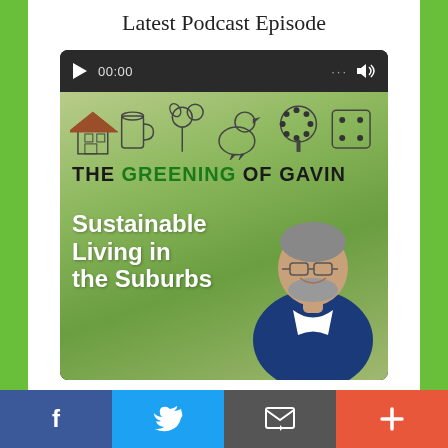Latest Podcast Episode
[Figure (screenshot): Podcast player widget showing 'The Greening of Gavin' podcast with audio player bar at top showing 00:00 timestamp, play button, and volume icon. Below is the podcast cover art showing a green gradient background with line art icons (house, jar, vegetables, chicken, tree, dice), bold title 'THE GREENING OF GAVIN' in black and green text, subtitle 'Sustainable Living in the Suburbs' in white bold text, and a photo of a middle-aged bearded man in a blue sweater.]
[Figure (other): Social media share bar with four buttons: Facebook (blue, f icon), Twitter (light blue, bird icon), Email (gray, envelope icon), More/Plus (orange-red, + icon)]